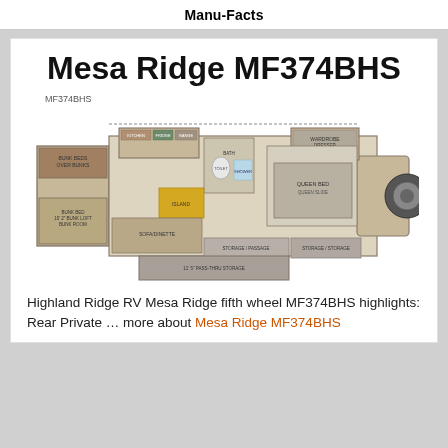Manu-Facts
Mesa Ridge MF374BHS
MF374BHS
[Figure (schematic): Floor plan layout of the Mesa Ridge MF374BHS fifth wheel RV showing top-down view with labeled rooms including bunk room, kitchen, bathroom, bedroom with queen bed, and slide-outs.]
Highland Ridge RV Mesa Ridge fifth wheel MF374BHS highlights: Rear Private … more about Mesa Ridge MF374BHS